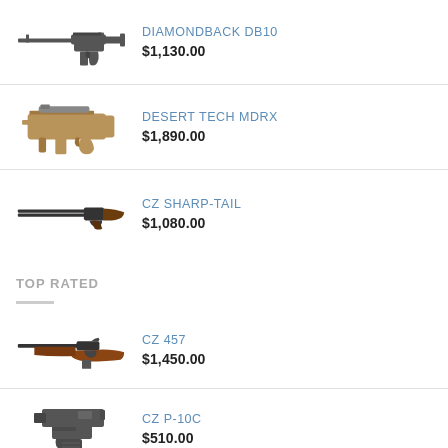DIAMONDBACK DB10 $1,130.00
DESERT TECH MDRX $1,890.00
CZ SHARP-TAIL $1,080.00
TOP RATED
CZ 457 $1,450.00
CZ P-10C $510.00